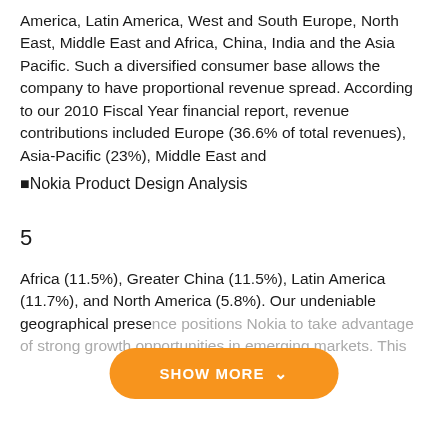America, Latin America, West and South Europe, North East, Middle East and Africa, China, India and the Asia Pacific. Such a diversified consumer base allows the company to have proportional revenue spread. According to our 2010 Fiscal Year financial report, revenue contributions included Europe (36.6% of total revenues), Asia-Pacific (23%), Middle East and
■Nokia Product Design Analysis
5
Africa (11.5%), Greater China (11.5%), Latin America (11.7%), and North America (5.8%). Our undeniable geographical presence positions Nokia to take advantage of strong growth opportunities in emerging markets. This